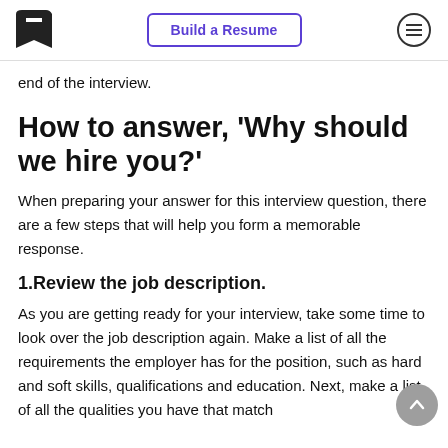Build a Resume
end of the interview.
How to answer, ‘Why should we hire you?’
When preparing your answer for this interview question, there are a few steps that will help you form a memorable response.
1.Review the job description.
As you are getting ready for your interview, take some time to look over the job description again. Make a list of all the requirements the employer has for the position, such as hard and soft skills, qualifications and education. Next, make a list of all the qualities you have that match